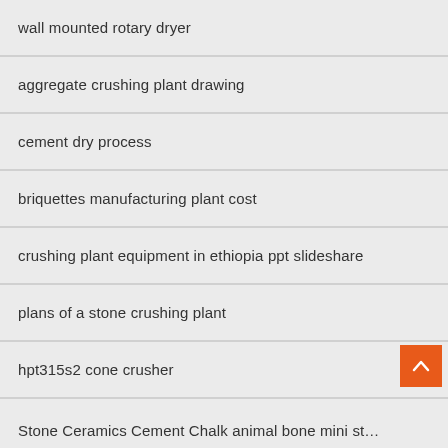wall mounted rotary dryer
aggregate crushing plant drawing
cement dry process
briquettes manufacturing plant cost
crushing plant equipment in ethiopia ppt slideshare
plans of a stone crushing plant
hpt315s2 cone crusher
Stone Ceramics Cement Chalk animal bone mini st…